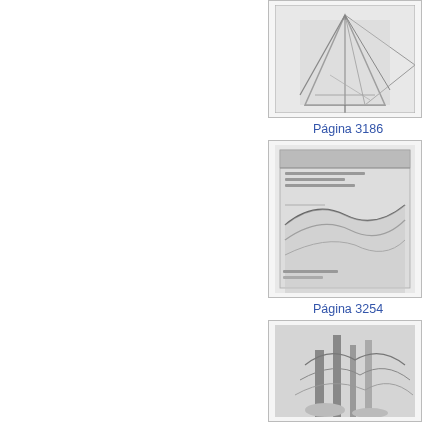[Figure (photo): Thumbnail image of page showing angular geometric shapes, possibly a monument or architectural structure with triangular forms, grayscale scan]
Página 3186
[Figure (photo): Thumbnail image of page showing a cross-section or geological/engineering diagram with handwritten or printed annotations, grayscale scan]
Página 3254
[Figure (photo): Thumbnail image of page showing a photograph of trees or a forested/rocky outdoor scene, grayscale scan]